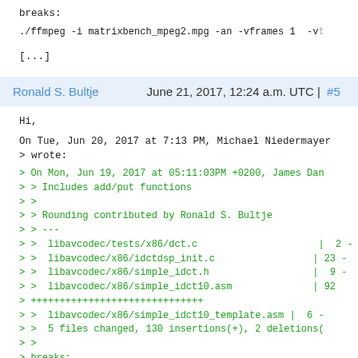breaks:
./ffmpeg -i matrixbench_mpeg2.mpg -an -vframes 1  -vt
[...]
Ronald S. Bultje   June 21, 2017, 12:24 a.m. UTC | #5
Hi,

On Tue, Jun 20, 2017 at 7:13 PM, Michael Niedermayer
> wrote:

> On Mon, Jun 19, 2017 at 05:11:03PM +0200, James Da
> > Includes add/put functions
> >
> > Rounding contributed by Ronald S. Bultje
> > ---
> >  libavcodec/tests/x86/dct.c                     |  2 -
> >  libavcodec/x86/idctdsp_init.c                  | 23 -
> >  libavcodec/x86/simple_idct.h                   |  9 -
> >  libavcodec/x86/simple_idct10.asm               | 92
> ++++++++++++++++++++++++++++++
> >  libavcodec/x86/simple_idct10_template.asm |  6 -
> >  5 files changed, 130 insertions(+), 2 deletions(
> >
> breaks: